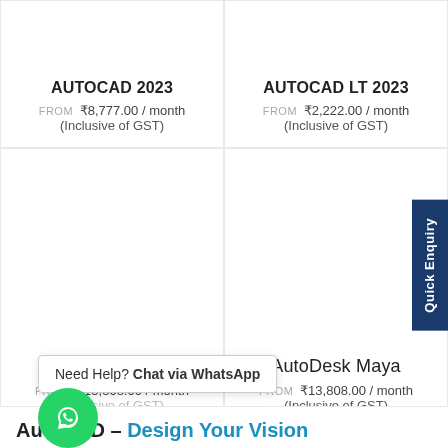AUTOCAD 2023
FROM ₹8,777.00 / month (Inclusive of GST)
AUTOCAD LT 2023
FROM ₹2,222.00 / month (Inclusive of GST)
FROM ₹13,808.00 / month (Inclusive of GST)
AutoDesk Maya
FROM ₹13,808.00 / month (Inclusive of GST)
Need Help? Chat via WhatsApp
AutoCAD – Design Your Vision